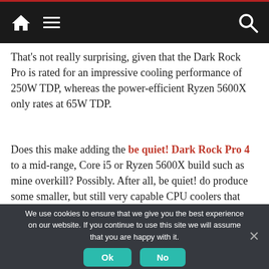[Navigation bar with home icon, hamburger menu, and search icon]
That's not really surprising, given that the Dark Rock Pro is rated for an impressive cooling performance of 250W TDP, whereas the power-efficient Ryzen 5600X only rates at 65W TDP.
Does this make adding the be quiet! Dark Rock Pro 4 to a mid-range, Core i5 or Ryzen 5600X build such as mine overkill? Possibly. After all, be quiet! do produce some smaller, but still very capable CPU coolers that would also be up to the task, as do many others. However, there are several advantages to attaching one of the best air
We use cookies to ensure that we give you the best experience on our website. If you continue to use this site we will assume that you are happy with it.